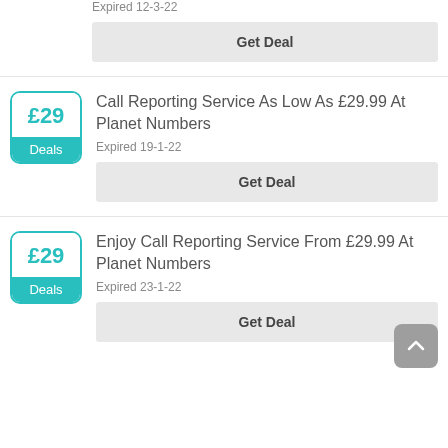Expired 12-3-22
Get Deal
Call Reporting Service As Low As £29.99 At Planet Numbers
Expired 19-1-22
Get Deal
Enjoy Call Reporting Service From £29.99 At Planet Numbers
Expired 23-1-22
Get Deal